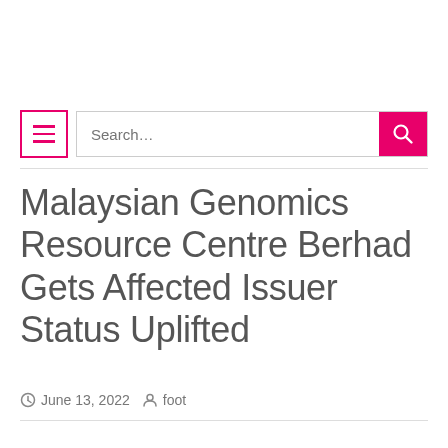[Figure (screenshot): Navigation bar with hamburger menu icon and search box with pink search button]
Malaysian Genomics Resource Centre Berhad Gets Affected Issuer Status Uplifted
June 13, 2022  foot